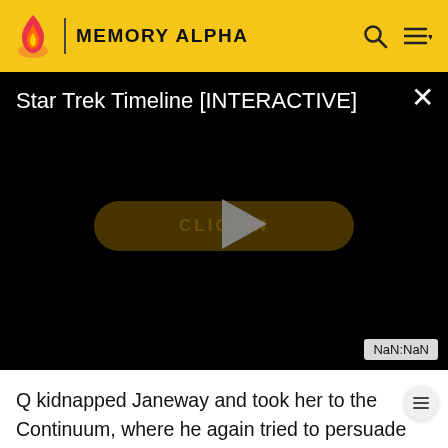MEMORY ALPHA
[Figure (screenshot): Video player showing 'Star Trek Timeline [INTERACTIVE]' with a black background, a play button overlay, a 'CLICK TO BEGIN' button partially obscured by play triangle, and a NaN:NaN time badge in the lower right corner.]
Q kidnapped Janeway and took her to the Continuum, where he again tried to persuade her by explaining the nature of the conflict. However, Janeway again declined, though she openly sympathized with Q for his inability to understand love and tried to negotiate a truce between